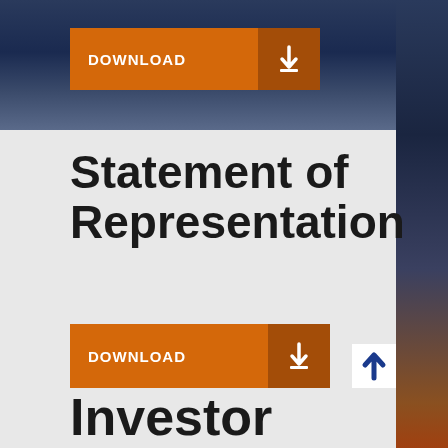[Figure (screenshot): DOWNLOAD button at top of page (orange button with download icon)]
Statement of Representation
[Figure (screenshot): DOWNLOAD button below title (orange button with download icon)]
[Figure (other): Blue upward arrow button on right side]
Investor Conference